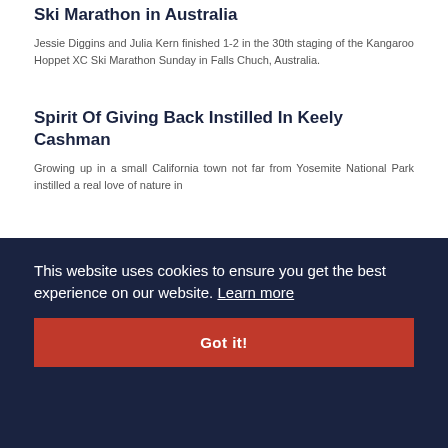Ski Marathon in Australia
Jessie Diggins and Julia Kern finished 1-2 in the 30th staging of the Kangaroo Hoppet XC Ski Marathon Sunday in Falls Chuch, Australia.
Spirit Of Giving Back Instilled In Keely Cashman
Growing up in a small California town not far from Yosemite National Park instilled a real love of nature in U.S. Ski Team specialist Keely Cashman (Strawberry, Calif.). She has channeled that passion into an amor for...
Volih Highlights Life Of Organizational Beginners
U.S. Ski and Snowboard honored individuals and organizations for their work for the sport with a final gold and silver level awards. The gold and silver... awards recognize volunteers and organizations and...
This website uses cookies to ensure you get the best experience on our website. Learn more
Got it!